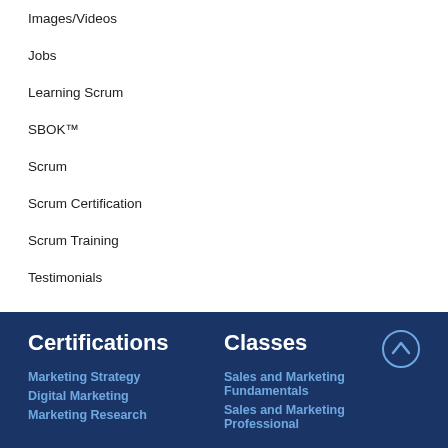Images/Videos
Jobs
Learning Scrum
SBOK™
Scrum
Scrum Certification
Scrum Training
Testimonials
Certifications
Classes
Marketing Strategy
Digital Marketing
Marketing Research
Sales and Marketing Fundamentals
Sales and Marketing Professional